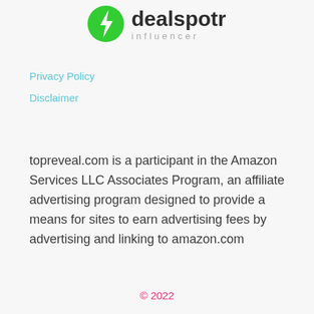[Figure (logo): Dealspotr Influencer logo: green circle with white lightning bolt icon, followed by bold text 'dealspotr' and gray italic text 'influencer']
Privacy Policy
Disclaimer
topreveal.com is a participant in the Amazon Services LLC Associates Program, an affiliate advertising program designed to provide a means for sites to earn advertising fees by advertising and linking to amazon.com
© 2022